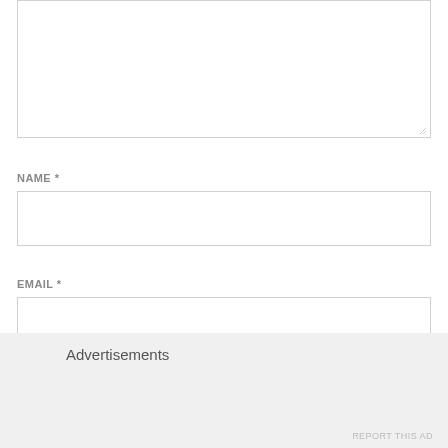[Figure (screenshot): A textarea form field (empty, resizable) at the top of a web form]
NAME *
[Figure (screenshot): A text input field for Name]
EMAIL *
[Figure (screenshot): A text input field for Email]
Advertisements
REPORT THIS AD